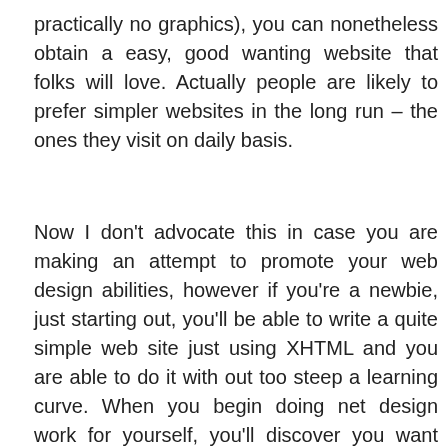practically no graphics), you can nonetheless obtain a easy, good wanting website that folks will love. Actually people are likely to prefer simpler websites in the long run – the ones they visit on daily basis.
Now I don't advocate this in case you are making an attempt to promote your web design abilities, however if you're a newbie, just starting out, you'll be able to write a quite simple web site just using XHTML and you are able to do it with out too steep a learning curve. When you begin doing net design work for yourself, you'll discover you want entry to a lot of net pages and tools directly. You might have a number of open windows up in your display and if your PC is underneath powered, you'll discover the